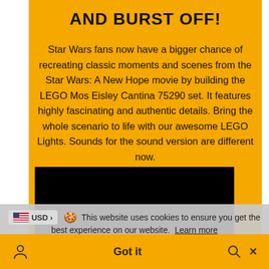AND BURST OFF!
Star Wars fans now have a bigger chance of recreating classic moments and scenes from the Star Wars: A New Hope movie by building the LEGO Mos Eisley Cantina 75290 set. It features highly fascinating and authentic details. Bring the whole scenario to life with our awesome LEGO Lights. Sounds for the sound version are different now.
[Figure (other): Black video player placeholder rectangle]
This website uses cookies to ensure you get the best experience on our website. Learn more
Got it